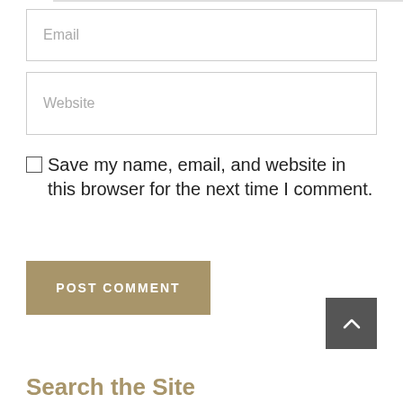Email
Website
Save my name, email, and website in this browser for the next time I comment.
POST COMMENT
Search the Site